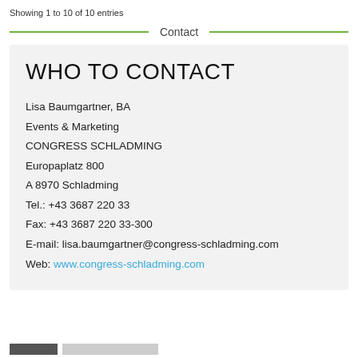Showing 1 to 10 of 10 entries
Contact
WHO TO CONTACT
Lisa Baumgartner, BA
Events & Marketing
CONGRESS SCHLADMING
Europaplatz 800
A 8970 Schladming
Tel.: +43 3687 220 33
Fax: +43 3687 220 33-300
E-mail: lisa.baumgartner@congress-schladming.com
Web: www.congress-schladming.com